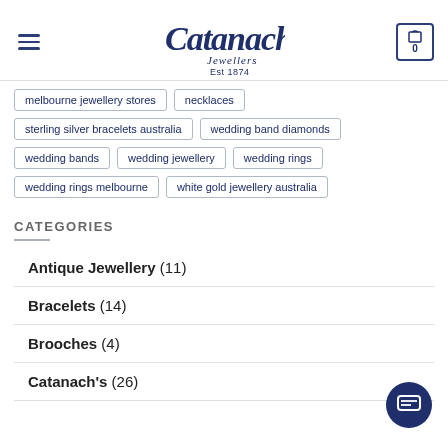Catanach's Jewellers Est 1874
melbourne jewellery stores
necklaces
sterling silver bracelets australia
wedding band diamonds
wedding bands
wedding jewellery
wedding rings
wedding rings melbourne
white gold jewellery australia
CATEGORIES
Antique Jewellery (11)
Bracelets (14)
Brooches (4)
Catanach's (26)